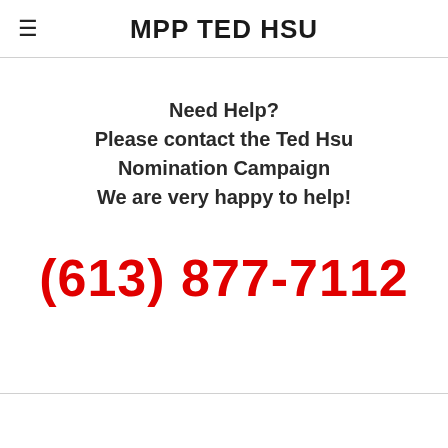MPP TED HSU
Need Help?
Please contact the Ted Hsu Nomination Campaign
We are very happy to help!
(613) 877-7112